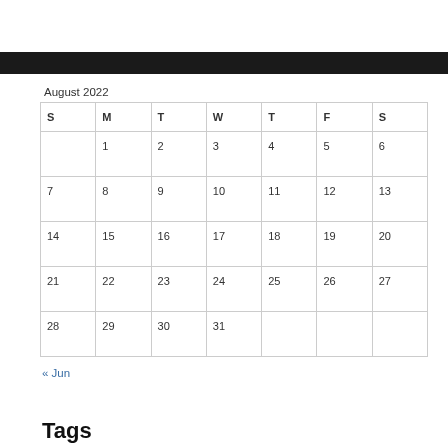August 2022
| S | M | T | W | T | F | S |
| --- | --- | --- | --- | --- | --- | --- |
|  | 1 | 2 | 3 | 4 | 5 | 6 |
| 7 | 8 | 9 | 10 | 11 | 12 | 13 |
| 14 | 15 | 16 | 17 | 18 | 19 | 20 |
| 21 | 22 | 23 | 24 | 25 | 26 | 27 |
| 28 | 29 | 30 | 31 |  |  |  |
« Jun
Tags